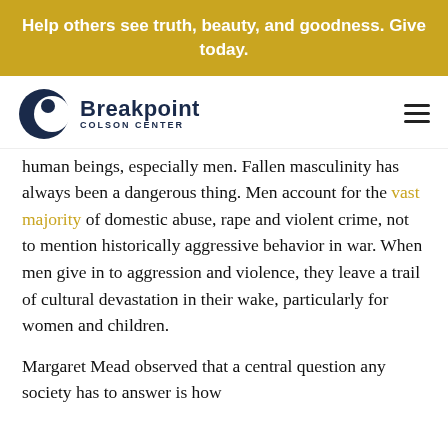Help others see truth, beauty, and goodness. Give today.
[Figure (logo): Breakpoint Colson Center logo with dark blue crescent/moon icon and bold text]
human beings, especially men. Fallen masculinity has always been a dangerous thing. Men account for the vast majority of domestic abuse, rape and violent crime, not to mention historically aggressive behavior in war. When men give in to aggression and violence, they leave a trail of cultural devastation in their wake, particularly for women and children.
Margaret Mead observed that a central question any society has to answer is how